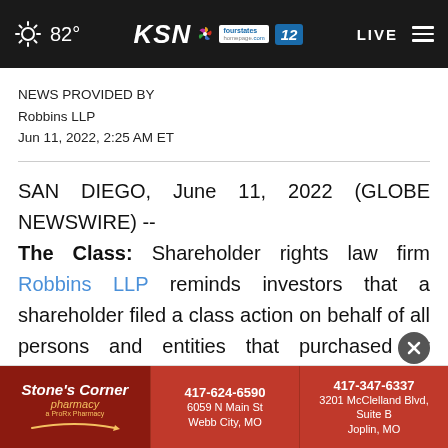82° | KSN fourstates homepage.com 12 | LIVE
NEWS PROVIDED BY
Robbins LLP
Jun 11, 2022, 2:25 AM ET
SAN DIEGO, June 11, 2022 (GLOBE NEWSWIRE) -- The Class: Shareholder rights law firm Robbins LLP reminds investors that a shareholder filed a class action on behalf of all persons and entities that purchased or otherwise acquired Spero Therapeutics, Inc. (NASDAQ: SPRO) securities betw[een...]. The complaint alleges violations of the Securities
[Figure (advertisement): Stone's Corner Pharmacy advertisement with contact info: 417-624-6590, 6059 N Main St, Webb City, MO and 417-347-6337, 3201 McClelland Blvd, Suite B, Joplin, MO]